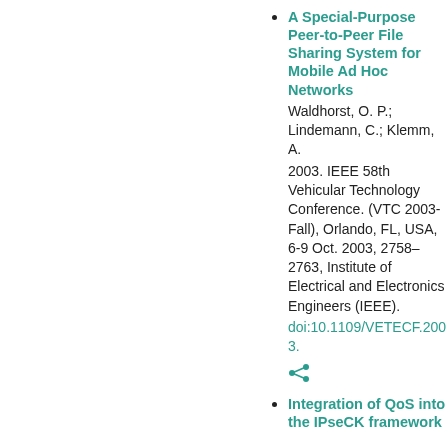A Special-Purpose Peer-to-Peer File Sharing System for Mobile Ad Hoc Networks
Waldhorst, O. P.; Lindemann, C.; Klemm, A.
2003. IEEE 58th Vehicular Technology Conference. (VTC 2003-Fall), Orlando, FL, USA, 6-9 Oct. 2003, 2758–2763, Institute of Electrical and Electronics Engineers (IEEE).
doi:10.1109/VETECF.2003.
Integration of QoS into the IPseCK framework